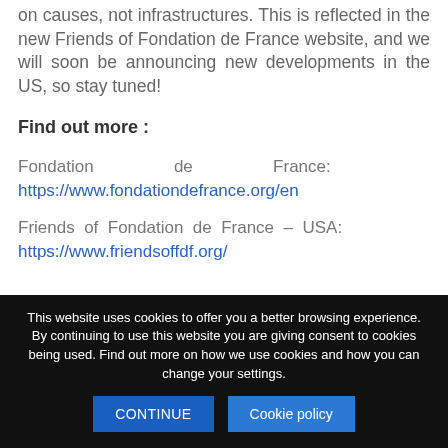on causes, not infrastructures. This is reflected in the new Friends of Fondation de France website, and we will soon be announcing new developments in the US, so stay tuned!
Find out more :
Fondation de France: https://www.fondationdefrance.org/en
Friends of Fondation de France – USA: https://www.friendsoffdf.org/
This website uses cookies to offer you a better browsing experience. By continuing to use this website you are giving consent to cookies being used. Find out more on how we use cookies and how you can change your settings.